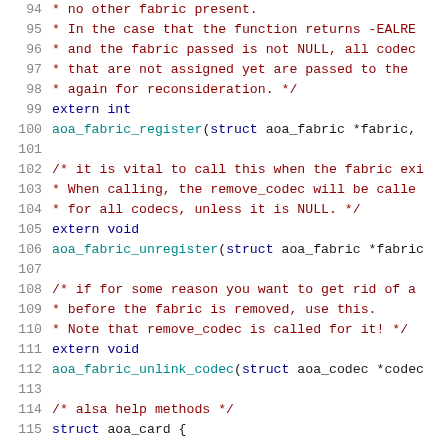[Figure (screenshot): Source code listing (C header file) showing lines 94-115 with syntax highlighting. Line numbers in gray, comments in dark red, keywords in dark blue, function calls in teal.]